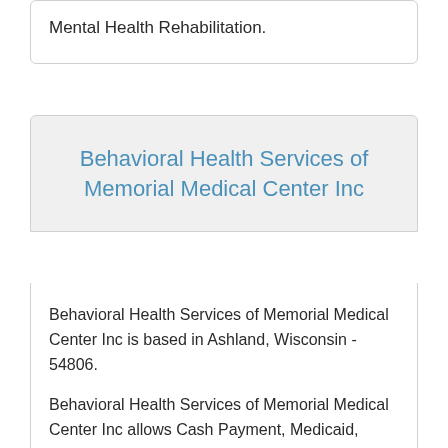Mental Health Rehabilitation.
Behavioral Health Services of Memorial Medical Center Inc
Behavioral Health Services of Memorial Medical Center Inc is based in Ashland, Wisconsin - 54806.
Behavioral Health Services of Memorial Medical Center Inc allows Cash Payment, Medicaid, Insurance Through Medicare for these treatment approaches: Cognitive Behavior Therapy, Services to Reduce the